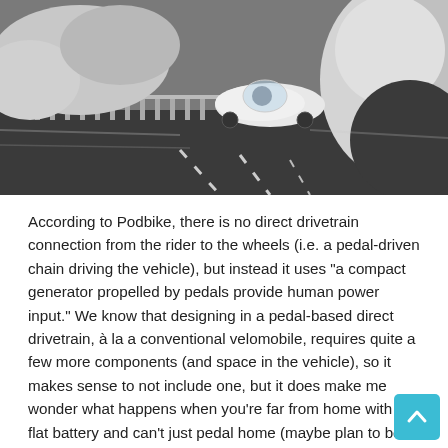[Figure (photo): A futuristic aerodynamic vehicle (velomobile/podbike) with a bubble canopy driving on a mountain road, with snowy rock formations visible on the sides. Black and white dramatic photo.]
According to Podbike, there is no direct drivetrain connection from the rider to the wheels (i.e. a pedal-driven chain driving the vehicle), but instead it uses "a compact generator propelled by pedals provide human power input." We know that designing in a pedal-based direct drivetrain, à la a conventional velomobile, requires quite a few more components (and space in the vehicle), so it makes sense to not include one, but it does make me wonder what happens when you're far from home with a flat battery and can't just pedal home (maybe plan to be out of "fuel" at the top of a really big hill, eh?).